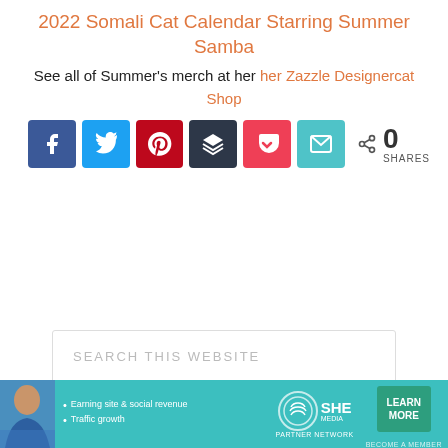2022 Somali Cat Calendar Starring Summer Samba
See all of Summer's merch at her her Zazzle Designercat Shop
[Figure (infographic): Social sharing buttons row: Facebook (blue), Twitter (light blue), Pinterest (red), Buffer (dark gray), Pocket (pink-red), Email (teal), plus a share icon with count '0 SHARES']
[Figure (screenshot): Search box with placeholder text 'SEARCH THIS WEBSITE']
[Figure (infographic): SHE Media Partner Network advertisement banner with person image, bullets 'Earning site & social revenue' and 'Traffic growth', SHE logo, and 'LEARN MORE / BECOME A MEMBER' button]